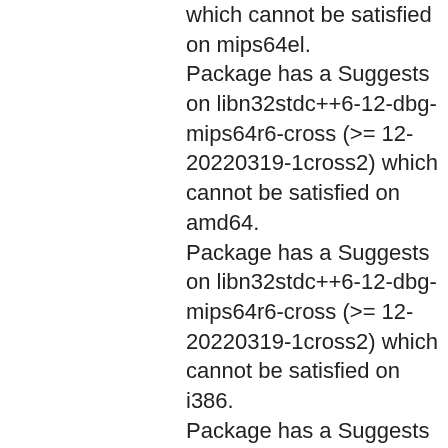which cannot be satisfied on mips64el. Package has a Suggests on libn32stdc++6-12-dbg-mips64r6-cross (>= 12-20220319-1cross2) which cannot be satisfied on amd64. Package has a Suggests on libn32stdc++6-12-dbg-mips64r6-cross (>= 12-20220319-1cross2) which cannot be satisfied on i386. Package has a Suggests on libn32stdc++6-12-dbg-mips64r6-cross (>= 12-20220319-1cross2) which cannot be satisfied on ppc64el. Package has a Suggests on libn32stdc++6-12-dbg-mips64r6-cross (>= 12-20220319-1cross2) which cannot be satisfied on arm64. Package has a Suggests on libn32stdc++6-12-dbg-mips64r6-